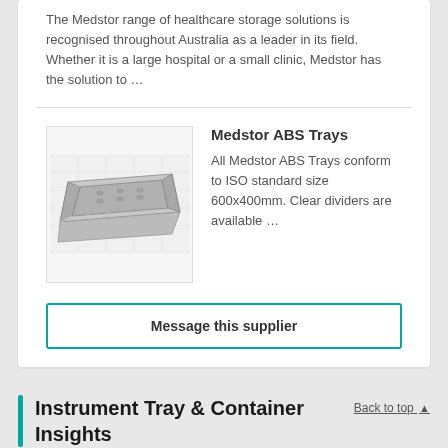The Medstor range of healthcare storage solutions is recognised throughout Australia as a leader in its field. Whether it is a large hospital or a small clinic, Medstor has the solution to …
Medstor ABS Trays
All Medstor ABS Trays conform to ISO standard size 600x400mm. Clear dividers are available …
[Figure (photo): Photo of a grey ABS instrument tray, rectangular with perforations and ribbed edges]
Message this supplier
Instrument Tray & Container Insights
Instrument Tray & Container costs approximately $202.